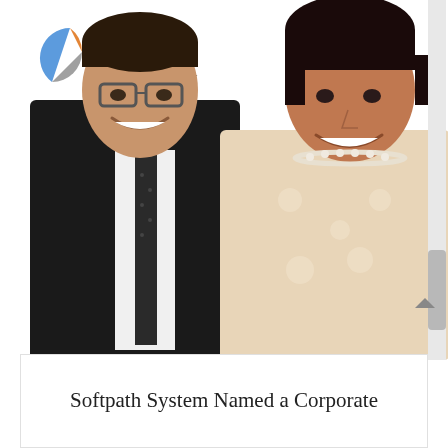[Figure (photo): Two people smiling and posing together in front of a GMSDC (Tri-county Minority Supplier Development Council) branded step-and-repeat banner. On the left is a man wearing a dark suit jacket and a dark dotted tie with glasses. On the right is a woman wearing a pearl necklace and a light beige/cream floral embroidered dress. The background shows the GMSDC logo repeated multiple times.]
Softpath System Named a Corporate